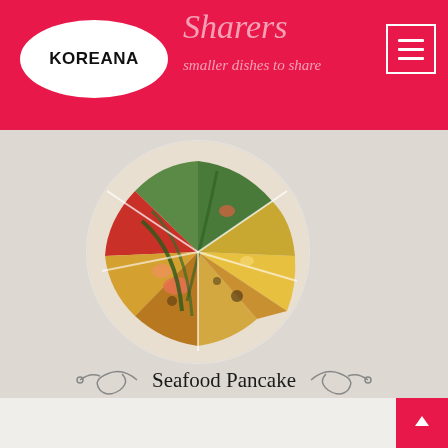Koreana
Sharers
smaller dishes to share
[Figure (photo): Circular photo of Korean seafood pancake (haemul pajeon) cut into slices, showing shrimp, green onions, and golden-brown batter, displayed on a light textured background]
Seafood Pancake